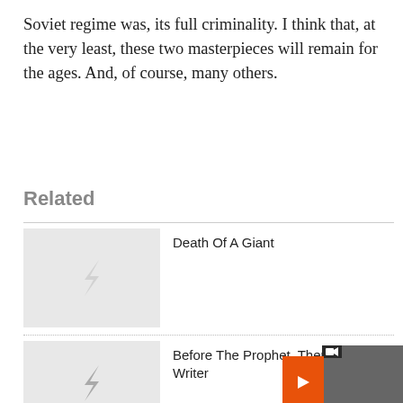Soviet regime was, its full criminality. I think that, at the very least, these two masterpieces will remain for the ages. And, of course, many others.
Related
Death Of A Giant
Before The Prophet, There Was The Writer
Two Ukrainian Mothers Struggle To Retrieve Their Sons' Remains